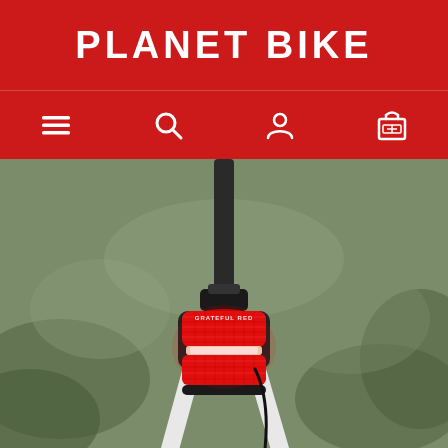PLANET BIKE
[Figure (screenshot): Website navigation bar with hamburger menu, search, user account, and shopping cart icons on red background]
[Figure (photo): Close-up photo of a red bicycle tail light labeled 'GRATEFUL RED' mounted on a white bicycle seat post, glowing red against a blurred outdoor background]